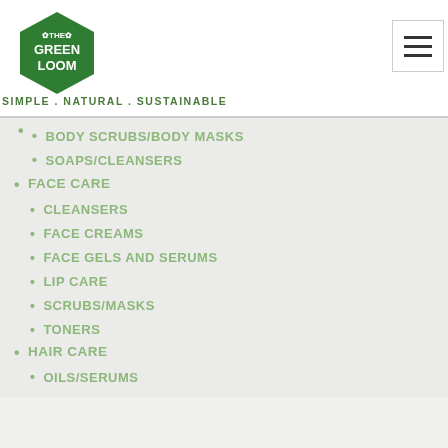[Figure (logo): The Green Loom hexagon logo with white text on dark green background]
SIMPLE . NATURAL . SUSTAINABLE
BODY SCRUBS/BODY MASKS
SOAPS/CLEANSERS
FACE CARE
CLEANSERS
FACE CREAMS
FACE GELS AND SERUMS
LIP CARE
SCRUBS/MASKS
TONERS
HAIR CARE
OILS/SERUMS